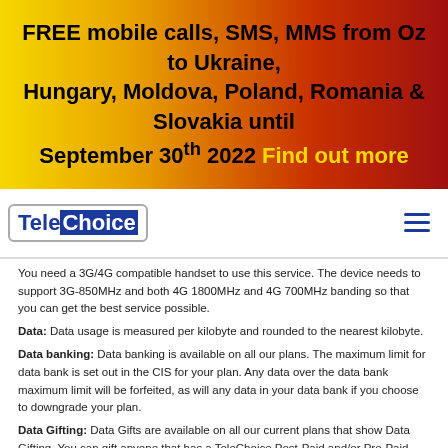[Figure (infographic): Red-to-yellow gradient banner with bold black text advertising free mobile calls, SMS, MMS from Oz to Ukraine, Hungary, Moldova, Poland, Romania & Slovakia until September 30th 2022, with yellow 'Find out more' link.]
[Figure (logo): TeleChoice logo: blue and yellow rounded rectangle with TeleChoice branding]
You need a 3G/4G compatible handset to use this service. The device needs to support 3G-850MHz and both 4G 1800MHz and 4G 700MHz banding so that you can get the best service possible.
Data: Data usage is measured per kilobyte and rounded to the nearest kilobyte.
Data banking: Data banking is available on all our plans. The maximum limit for data bank is set out in the CIS for your plan. Any data over the data bank maximum limit will be forfeited, as will any data in your data bank if you choose to downgrade your plan.
Data Gifting: Data Gifts are available on all our current plans that show Data Gifting. You can gift anyone that has a TeleChoice Post-Paid and/or Pre-Paid active mobile service which is on a Plan that allows data gifting, you can gift up to 50% of you monthly included data allowance or included data allowance per Prepaid recharge, and you can receive up to 999GB per monthly cycle. Gifted data can NOT be re-gifted. Users cannot gift from their Data Bank, excess data bolt-ons or bonus